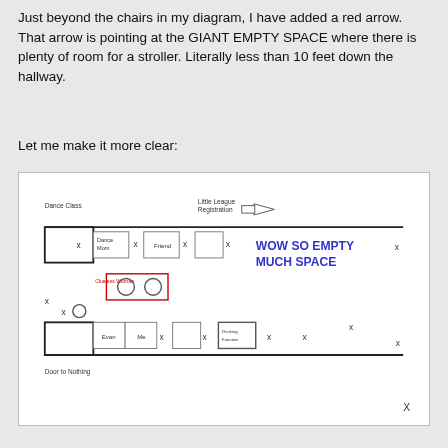Just beyond the chairs in my diagram, I have added a red arrow. That arrow is pointing at the GIANT EMPTY SPACE where there is plenty of room for a stroller. Literally less than 10 feet down the hallway.
Let me make it more clear:
[Figure (schematic): Floor plan diagram showing a hallway with Dance Class on the left, Little League Registration arrow pointing right, chairs represented by boxes with X marks and circles, Dance Mom, Friend, Clueless Woman labels, Evan and Me boxes, a Drinking Fountain box, and a large blue text area reading WOW SO EMPTY MUCH SPACE, with Door to Nothing label at bottom left and an X at bottom right outside the box.]